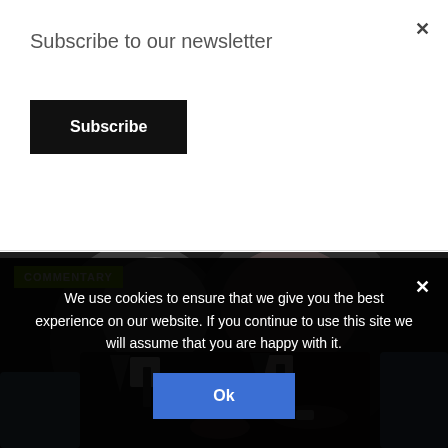Subscribe to our newsletter
Subscribe
[Figure (photo): Two men in dark suits leaning toward each other at what appears to be an official meeting, one with grey hair and one facing down, with label COMMENTARY in green overlay]
We use cookies to ensure that we give you the best experience on our website. If you continue to use this site we will assume that you are happy with it.
Ok